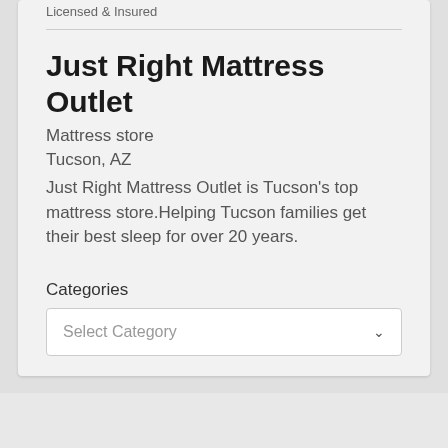Licensed & Insured
Just Right Mattress Outlet
Mattress store
Tucson, AZ
Just Right Mattress Outlet is Tucson's top mattress store.Helping Tucson families get their best sleep for over 20 years.
Categories
Select Category